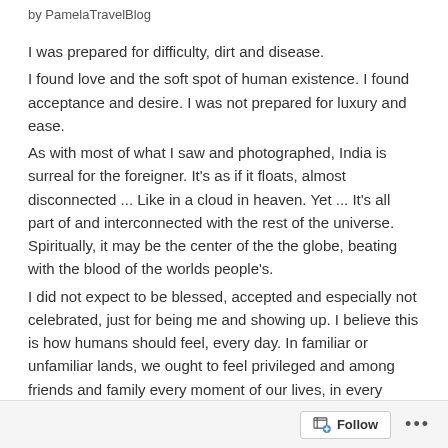by PamelaTravelBlog
I was prepared for difficulty, dirt and disease.
I found love and the soft spot of human existence. I found acceptance and desire. I was not prepared for luxury and ease.
As with most of what I saw and photographed, India is surreal for the foreigner. It’s as if it floats, almost disconnected ... Like in a cloud in heaven. Yet ... It’s all part of and interconnected with the rest of the universe. Spiritually, it may be the center of the the globe, beating with the blood of the worlds people’s.
I did not expect to be blessed, accepted and especially not celebrated, just for being me and showing up. I believe this is how humans should feel, every day. In familiar or unfamiliar lands, we ought to feel privileged and among friends and family every moment of our lives, in every place we venture.
Standing on a ghat along side a body of water, I felt akin to
Follow ...